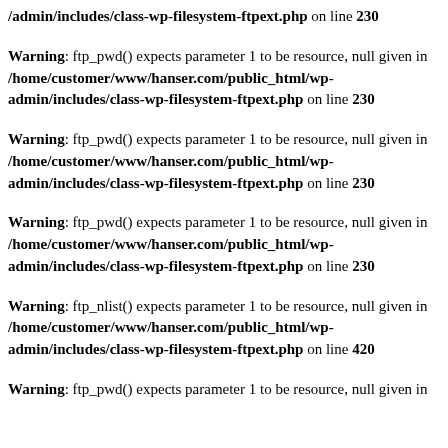/admin/includes/class-wp-filesystem-ftpext.php on line 230
Warning: ftp_pwd() expects parameter 1 to be resource, null given in /home/customer/www/hanser.com/public_html/wp-admin/includes/class-wp-filesystem-ftpext.php on line 230
Warning: ftp_pwd() expects parameter 1 to be resource, null given in /home/customer/www/hanser.com/public_html/wp-admin/includes/class-wp-filesystem-ftpext.php on line 230
Warning: ftp_pwd() expects parameter 1 to be resource, null given in /home/customer/www/hanser.com/public_html/wp-admin/includes/class-wp-filesystem-ftpext.php on line 230
Warning: ftp_nlist() expects parameter 1 to be resource, null given in /home/customer/www/hanser.com/public_html/wp-admin/includes/class-wp-filesystem-ftpext.php on line 420
Warning: ftp_pwd() expects parameter 1 to be resource, null given in